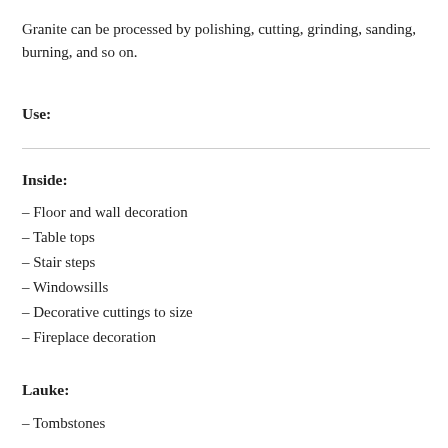Granite can be processed by polishing, cutting, grinding, sanding, burning, and so on.
Use:
Inside:
– Floor and wall decoration
– Table tops
– Stair steps
– Windowsills
– Decorative cuttings to size
– Fireplace decoration
Lauke:
– Tombstones